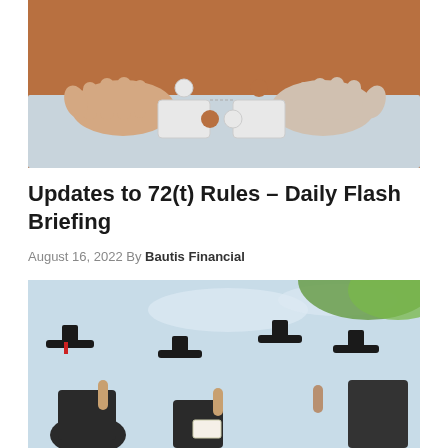[Figure (photo): Close-up of hands assembling puzzle pieces on a table, warm brown/orange toned background]
Updates to 72(t) Rules – Daily Flash Briefing
August 16, 2022 By Bautis Financial
[Figure (photo): Graduates in black gowns and caps tossing their caps in the air against a light blue sky with green foliage visible]